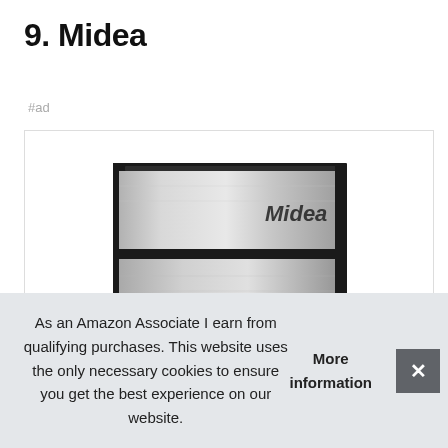9. Midea
#ad
[Figure (photo): Midea compact refrigerator with stainless steel door, shown from a slight angle. The appliance has a freezer compartment on top and refrigerator below, with a silver brushed metal finish and the Midea logo visible on the door.]
As an Amazon Associate I earn from qualifying purchases. This website uses the only necessary cookies to ensure you get the best experience on our website. More information